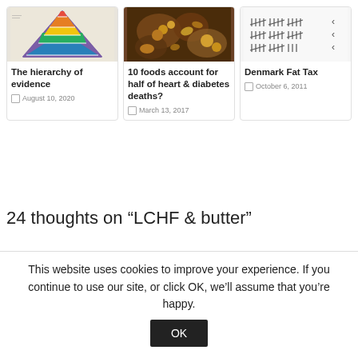[Figure (illustration): Food pyramid infographic image]
The hierarchy of evidence
August 10, 2020
[Figure (photo): Assorted nuts and seeds in wooden bowls]
10 foods account for half of heart & diabetes deaths?
March 13, 2017
[Figure (other): Tally/tick mark chart or scorecard]
Denmark Fat Tax
October 6, 2011
24 thoughts on “LCHF & butter”
This website uses cookies to improve your experience. If you continue to use our site, or click OK, we’ll assume that you’re happy.